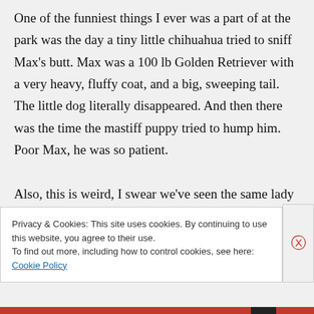One of the funniest things I ever was a part of at the park was the day a tiny little chihuahua tried to sniff Max's butt. Max was a 100 lb Golden Retriever with a very heavy, fluffy coat, and a big, sweeping tail. The little dog literally disappeared. And then there was the time the mastiff puppy tried to hump him. Poor Max, he was so patient. Also, this is weird, I swear we've seen the same lady the last two days and she hasn't
Privacy & Cookies: This site uses cookies. By continuing to use this website, you agree to their use. To find out more, including how to control cookies, see here: Cookie Policy
Close and accept